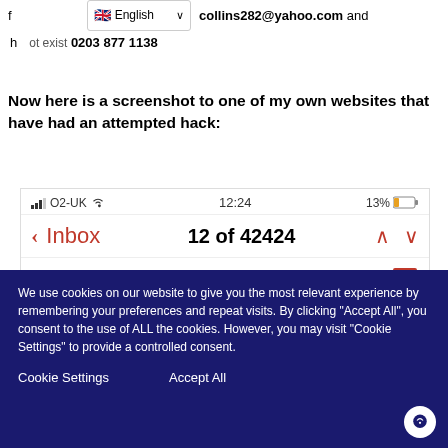collins282@yahoo.com and ... ot exist 0203 877 1138
Now here is a screenshot to one of my own websites that have had an attempted hack:
[Figure (screenshot): Mobile phone screenshot showing email app. Status bar shows O2-UK wifi signal, time 12:24, battery 13%. Below shows Inbox navigation with '12 of 42424' count and up/down arrows. Email item shows '[DISABLED ENTREPRENEUR]' subject with bookmark icon and partial preview text.]
We use cookies on our website to give you the most relevant experience by remembering your preferences and repeat visits. By clicking "Accept All", you consent to the use of ALL the cookies. However, you may visit "Cookie Settings" to provide a controlled consent.
Cookie Settings   Accept All